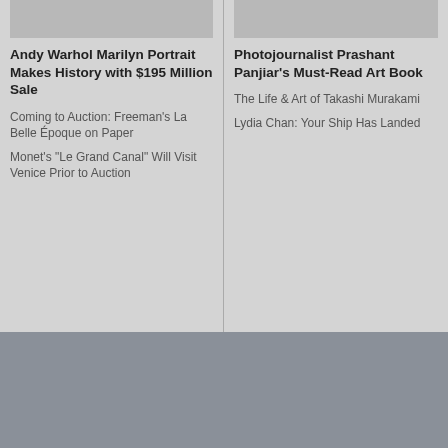[Figure (photo): Andy Warhol Marilyn portrait artwork thumbnail]
Andy Warhol Marilyn Portrait Makes History with $195 Million Sale
Coming to Auction: Freeman's La Belle Époque on Paper
Monet's "Le Grand Canal" Will Visit Venice Prior to Auction
[Figure (photo): Photojournalist Prashant Panjiar photo thumbnail]
Photojournalist Prashant Panjiar's Must-Read Art Book
The Life & Art of Takashi Murakami
Lydia Chan: Your Ship Has Landed
Home
Features